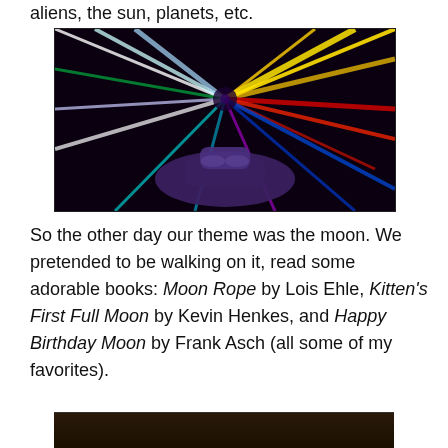aliens, the sun, planets, etc.
[Figure (photo): A dark space-themed photo showing colorful streaks of light radiating from a central point, resembling warp speed or a light show, with what appears to be a ride vehicle in the foreground.]
So the other day our theme was the moon. We pretended to be walking on it, read some adorable books: Moon Rope by Lois Ehle, Kitten's First Full Moon by Kevin Henkes, and Happy Birthday Moon by Frank Asch (all some of my favorites).
[Figure (photo): Partial photo at the bottom of the page, dark tones, appears to show children or people in a dimly lit setting.]